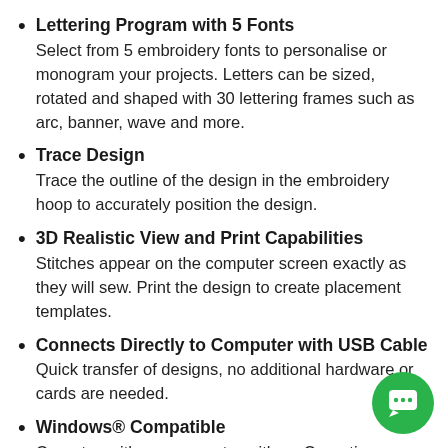Lettering Program with 5 Fonts
Select from 5 embroidery fonts to personalise or monogram your projects. Letters can be sized, rotated and shaped with 30 lettering frames such as arc, banner, wave and more.
Trace Design
Trace the outline of the design in the embroidery hoop to accurately position the design.
3D Realistic View and Print Capabilities
Stitches appear on the computer screen exactly as they will sew. Print the design to create placement templates.
Connects Directly to Computer with USB Cable
Quick transfer of designs, no additional hardware or cards are needed.
Windows® Compatible
Operates with any computer with an Operating System of Windows® XP or higher, including Vista®